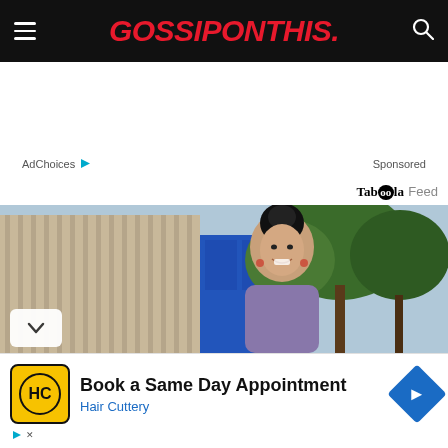GOSSIPONTHIS.
AdChoices  Sponsored
Taboola Feed
[Figure (photo): Woman with dark hair in updo, smiling outdoors near blue door and trees]
Book a Same Day Appointment - Hair Cuttery